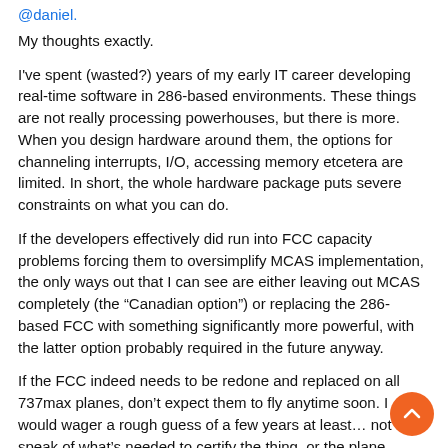@daniel.
My thoughts exactly.
I've spent (wasted?) years of my early IT career developing real-time software in 286-based environments. These things are not really processing powerhouses, but there is more. When you design hardware around them, the options for channeling interrupts, I/O, accessing memory etcetera are limited. In short, the whole hardware package puts severe constraints on what you can do.
If the developers effectively did run into FCC capacity problems forcing them to oversimplify MCAS implementation, the only ways out that I can see are either leaving out MCAS completely (the “Canadian option”) or replacing the 286-based FCC with something significantly more powerful, with the latter option probably required in the future anyway.
If the FCC indeed needs to be redone and replaced on all 737max planes, don’t expect them to fly anytime soon. I would wager a rough guess of a few years at least… not to speak of what’s needed to certify the thing, or the plane.